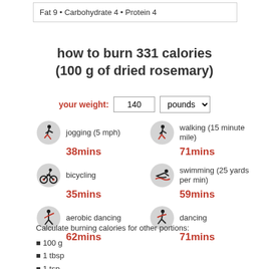Fat 9 • Carbohydrate 4 • Protein 4
how to burn 331 calories (100 g of dried rosemary)
your weight: 140 pounds
[Figure (infographic): Six exercise icons with activity names and calorie-burn durations: jogging (5 mph) 38mins, walking (15 minute mile) 71mins, bicycling 35mins, swimming (25 yards per min) 59mins, aerobic dancing 62mins, dancing 71mins]
Calculate burning calories for other portions:
100 g
1 tbsp
1 tsp